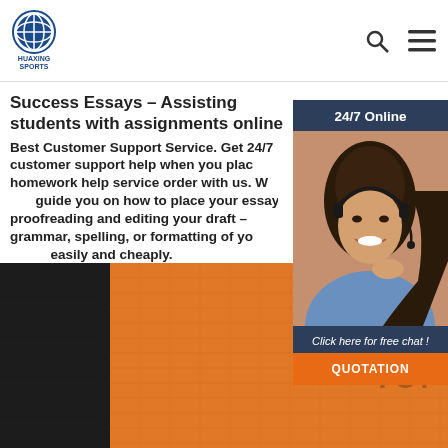HUAXING SPORTS
Success Essays - Assisting students with assignments online
Best Customer Support Service. Get 24/7 customer support help when you place a homework help service order with us. We will guide you on how to place your essay, proofreading and editing your draft – grammar, spelling, or formatting of your paper easily and cheaply.
[Figure (photo): Customer support agent woman wearing headset smiling, with 24/7 Online banner and chat widget overlay]
[Figure (photo): Close-up of orange and black sports fabric texture with TOP watermark]